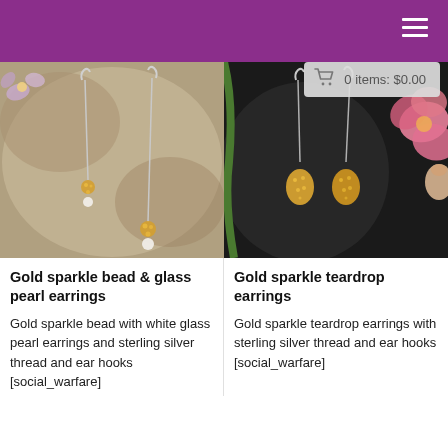0 items: $0.00
[Figure (photo): Photo of gold sparkle bead and glass pearl drop earrings on a stone background with flowers]
Gold sparkle bead & glass pearl earrings
Gold sparkle bead with white glass pearl earrings and sterling silver thread and ear hooks [social_warfare]
[Figure (photo): Photo of gold sparkle teardrop earrings on a dark stone background with pink flowers]
Gold sparkle teardrop earrings
Gold sparkle teardrop earrings with sterling silver thread and ear hooks [social_warfare]